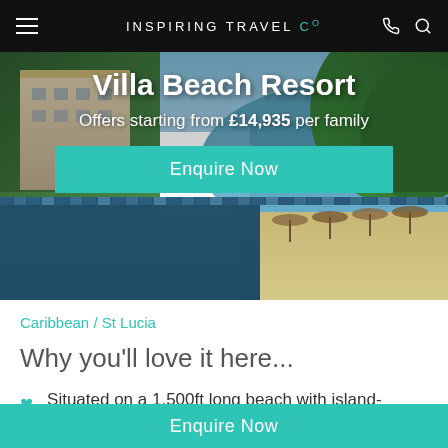INSPIRING TRAVEL Co
[Figure (photo): Aerial/elevated view of Villa Beach Resort in St Lucia, showing an infinity pool in the foreground with tiled mosaic edge, colonial-style buildings on the left, lush green tropical trees, a sandy beach with thatched umbrellas, and calm blue Caribbean sea in the background.]
Villa Beach Resort
Offers starting from £14,935 per family
Enquire Now
Caribbean / St Lucia
Why you'll love it here...
Situated on a 1,500ft long beach with island-
Enquire Now